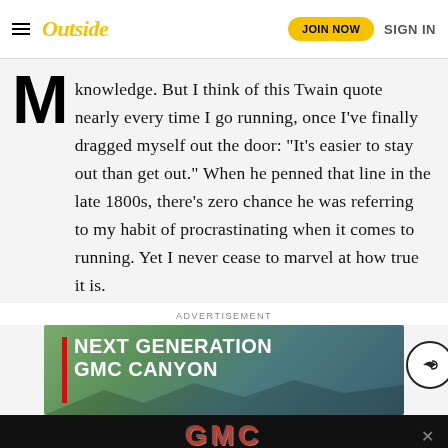Outside | JOIN NOW | SIGN IN
M knowledge. But I think of this Twain quote nearly every time I go running, once I've finally dragged myself out the door: “It’s easier to stay out than get out.” When he penned that line in the late 1800s, there’s zero chance he was referring to my habit of procrastinating when it comes to running. Yet I never cease to marvel at how true it is.
ADVERTISEMENT
[Figure (illustration): GMC Canyon advertisement banner showing 'NEXT GENERATION GMC CANYON' text with a red vertical bar accent, mountain landscape background, and a vehicle partially visible. Below is a black bar with the GMC logo in red.]